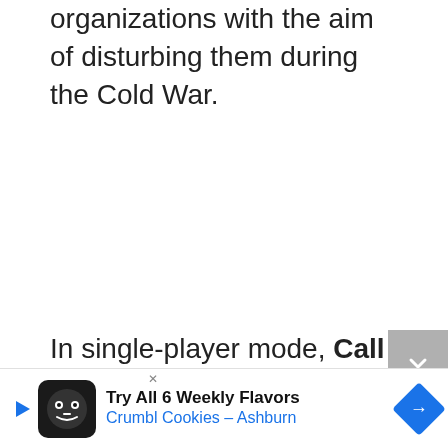organizations with the aim of disturbing them during the Cold War.
In single-player mode, Call of Duty: Black Ops Cold War will take players to many diffe...
[Figure (screenshot): Advertisement banner for Crumbl Cookies - Ashburn with logo, text 'Try All 6 Weekly Flavors', and navigation arrow]